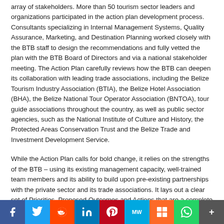array of stakeholders. More than 50 tourism sector leaders and organizations participated in the action plan development process. Consultants specializing in Internal Management Systems, Quality Assurance, Marketing, and Destination Planning worked closely with the BTB staff to design the recommendations and fully vetted the plan with the BTB Board of Directors and via a national stakeholder meeting. The Action Plan carefully reviews how the BTB can deepen its collaboration with leading trade associations, including the Belize Tourism Industry Association (BTIA), the Belize Hotel Association (BHA), the Belize National Tour Operator Association (BNTOA), tour guide associations throughout the country, as well as public sector agencies, such as the National Institute of Culture and History, the Protected Areas Conservation Trust and the Belize Trade and Investment Development Service.
While the Action Plan calls for bold change, it relies on the strengths of the BTB – using its existing management capacity, well-trained team members and its ability to build upon pre-existing partnerships with the private sector and its trade associations. It lays out a clear set of Priorities, Proposed Outcomes and Actions that are a complete manual for staff to implement the required changes.
Among the priorities identified by the plan were to: Create Trade and